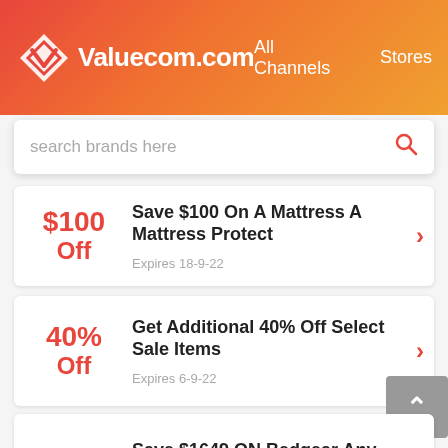Valuecom.com  All Channels  Stores
search brands here
$100 Off — Save $100 On A Mattress A Mattress Protect — Expires 18-9-22
40% Off — Get Additional 40% Off Select Sale Items — Expires 6-9-22
$1649 Off — Save $1649 ON Bedgear Any Order — Expires 22-9-22